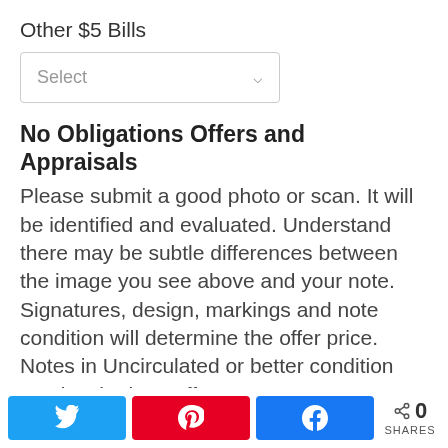Other $5 Bills
[Figure (screenshot): Dropdown select box with 'Select' placeholder and chevron arrow]
No Obligations Offers and Appraisals
Please submit a good photo or scan. It will be identified and evaluated. Understand there may be subtle differences between the image you see above and your note. Signatures, design, markings and note condition will determine the offer price. Notes in Uncirculated or better condition receive the best offers.
Appraisals can be estimated for wholesale and retail prices. Wholesale is what dealers typically pay. Retail is what a collector might
0 SHARES (Twitter, Pinterest, Facebook share buttons)